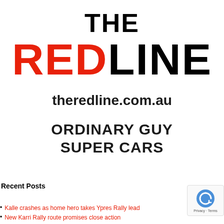THE REDLINE
theredline.com.au
ORDINARY GUY SUPER CARS
Recent Posts
Kalle crashes as home hero takes Ypres Rally lead
New Karri Rally route promises close action